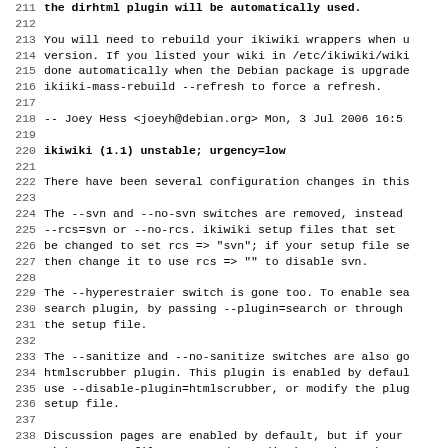Lines 212-243 of a Debian changelog for ikiwiki, showing version 1.1 unstable urgency=low and related configuration change notes.